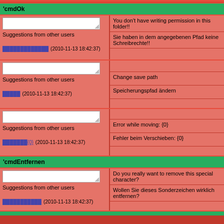'cmdOk
| [textarea] Suggestions from other users [link] (2010-11-13 18:42:37) | You don't have writing permission in this folder!! | Sie haben in dem angegebenen Pfad keine Schreibrechte!! |
| [textarea] Suggestions from other users [link] (2010-11-13 18:42:37) | Change save path | Speicherungspfad ändern |
| [textarea] Suggestions from other users [link]{0} (2010-11-13 18:42:37) | Error while moving: {0} | Fehler beim Verschieben: {0} |
'cmdEntfernen
| [textarea] Suggestions from other users [link] (2010-11-13 18:42:37) | Do you really want to remove this special character? | Wollen Sie dieses Sonderzeichen wirklich entfernen? |